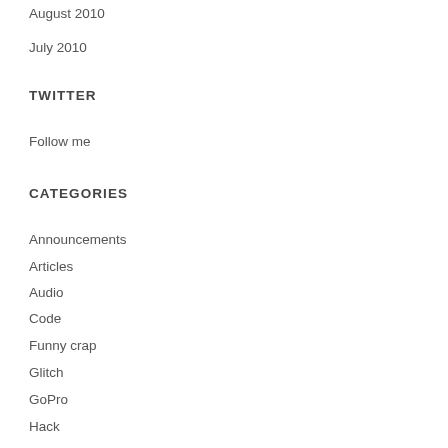August 2010
July 2010
TWITTER
Follow me
CATEGORIES
Announcements
Articles
Audio
Code
Funny crap
Glitch
GoPro
Hack